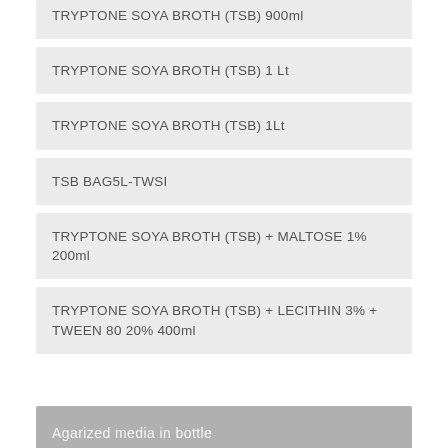TRYPTONE SOYA BROTH (TSB) 900ml
TRYPTONE SOYA BROTH (TSB) 1 Lt
TRYPTONE SOYA BROTH (TSB) 1Lt
TSB BAG5L-TWSI
TRYPTONE SOYA BROTH (TSB) + MALTOSE 1% 200ml
TRYPTONE SOYA BROTH (TSB) + LECITHIN 3% + TWEEN 80 20% 400ml
Agarized media in bottle